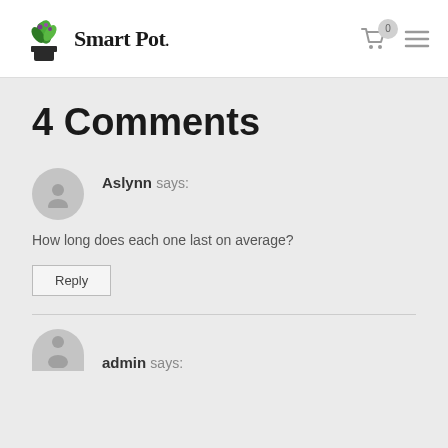[Figure (logo): Smart Pot logo with plant illustration and serif logotype]
4 Comments
Aslynn says:
How long does each one last on average?
Reply
admin says: